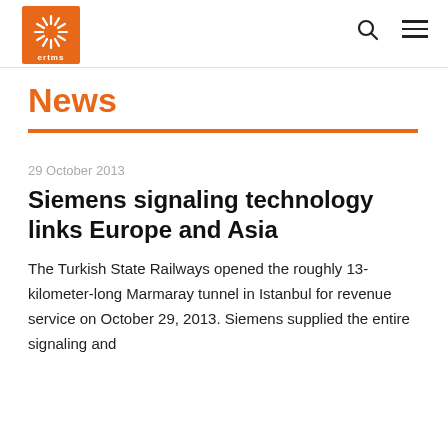[Figure (logo): ERTMS orange starburst logo with 'ertms' text below]
ertms [logo] [search icon] [menu icon]
News
29 October 2013
Siemens signaling technology links Europe and Asia
The Turkish State Railways opened the roughly 13-kilometer-long Marmaray tunnel in Istanbul for revenue service on October 29, 2013. Siemens supplied the entire signaling and...